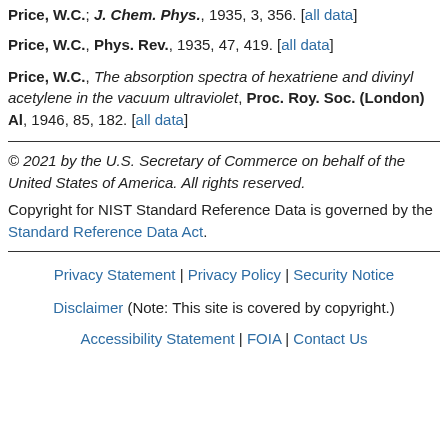Price, W.C., Phys. Rev., 1935, 47, 419. [all data]
Price, W.C., The absorption spectra of hexatriene and divinyl acetylene in the vacuum ultraviolet, Proc. Roy. Soc. (London) Al, 1946, 85, 182. [all data]
© 2021 by the U.S. Secretary of Commerce on behalf of the United States of America. All rights reserved.
Copyright for NIST Standard Reference Data is governed by the Standard Reference Data Act.
Privacy Statement | Privacy Policy | Security Notice
Disclaimer (Note: This site is covered by copyright.)
Accessibility Statement | FOIA | Contact Us